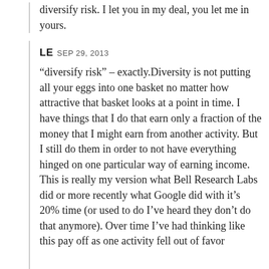diversify risk. I let you in my deal, you let me in yours.
LE SEP 29, 2013

“diversify risk” – exactly.Diversity is not putting all your eggs into one basket no matter how attractive that basket looks at a point in time. I have things that I do that earn only a fraction of the money that I might earn from another activity. But I still do them in order to not have everything hinged on one particular way of earning income. This is really my version what Bell Research Labs did or more recently what Google did with it’s 20% time (or used to do I’ve heard they don’t do that anymore). Over time I’ve had thinking like this pay off as one activity fell out of favor